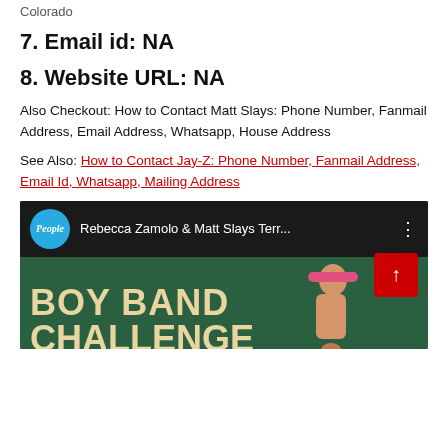Colorado
7. Email id: NA
8. Website URL: NA
Also Checkout: How to Contact Matt Slays: Phone Number, Fanmail Address, Email Address, Whatsapp, House Address
See Also: How to Contact Jay-Z: Phone Number, Fanmail Address, Email Id, Whatsapp, Mailing Address
[Figure (screenshot): YouTube video thumbnail showing People magazine logo, title 'Rebecca Zamolo & Matt Slays Terr...' with Boy Band Challenge text on green background with person wearing pink headband]